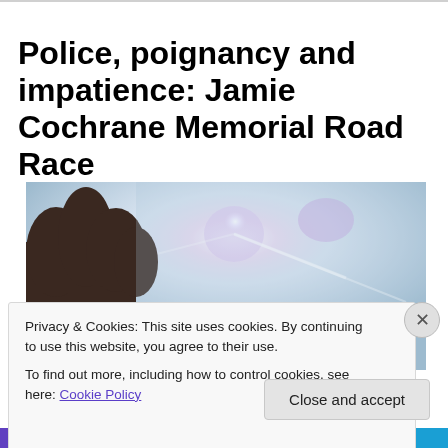Police, poignancy and impatience: Jamie Cochrane Memorial Road Race
[Figure (photo): Outdoor photo showing bright sun flare over a blue sky with silhouetted trees on the left side]
Privacy & Cookies: This site uses cookies. By continuing to use this website, you agree to their use.
To find out more, including how to control cookies, see here: Cookie Policy
Close and accept